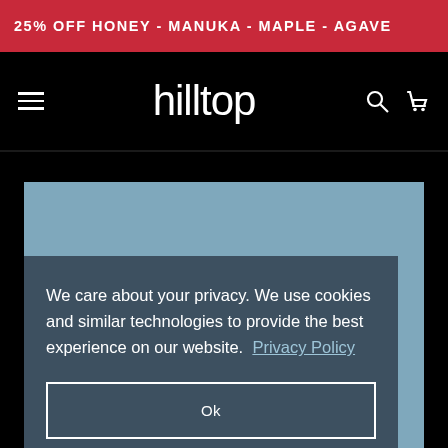25% OFF HONEY - MANUKA - MAPLE - AGAVE
[Figure (logo): Hilltop website navigation bar with hamburger menu icon, 'hilltop' logo in white on black background, search icon, and cart icon]
We care about your privacy. We use cookies and similar technologies to provide the best experience on our website. Privacy Policy
Ok